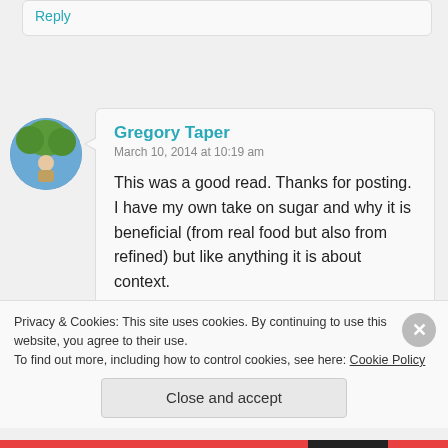Reply
Gregory Taper
March 10, 2014 at 10:19 am
This was a good read. Thanks for posting. I have my own take on sugar and why it is beneficial (from real food but also from refined) but like anything it is about context.

Wanted to share an article with you by Ray Peat entitled Cholesterol,
Privacy & Cookies: This site uses cookies. By continuing to use this website, you agree to their use.
To find out more, including how to control cookies, see here: Cookie Policy
Close and accept